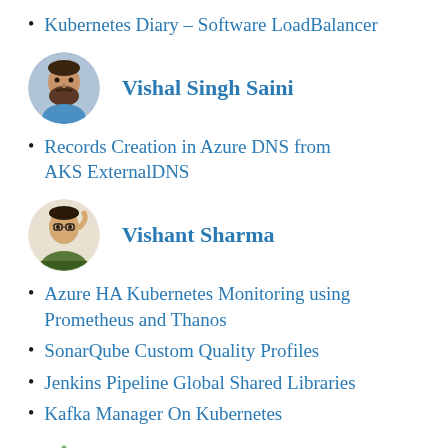Kubernetes Diary – Software LoadBalancer
[Figure (photo): Circular avatar photo of Vishal Singh Saini]
Vishal Singh Saini
Records Creation in Azure DNS from AKS ExternalDNS
[Figure (illustration): Circular avatar illustration of Vishant Sharma]
Vishant Sharma
Azure HA Kubernetes Monitoring using Prometheus and Thanos
SonarQube Custom Quality Profiles
Jenkins Pipeline Global Shared Libraries
Kafka Manager On Kubernetes
[Figure (logo): Circular green geometric logo for waliarohit]
waliarohit